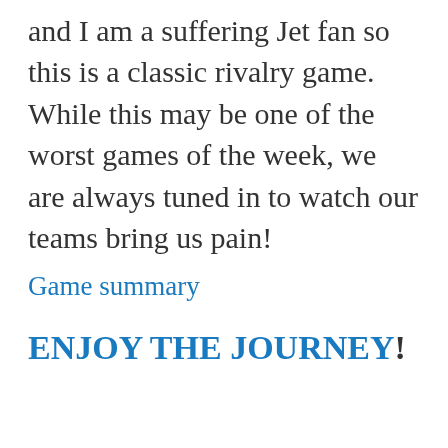and I am a suffering Jet fan so this is a classic rivalry game. While this may be one of the worst games of the week, we are always tuned in to watch our teams bring us pain!
Game summary
ENJOY THE JOURNEY!